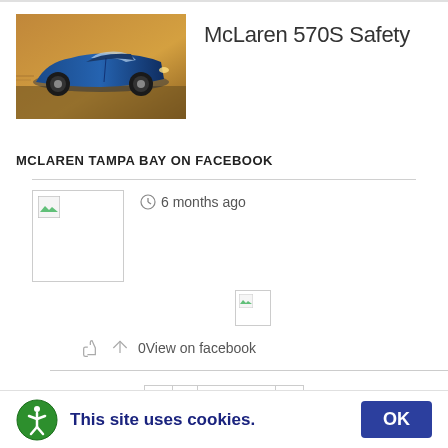McLaren 570S Safety
[Figure (photo): Blue McLaren 570S sports car in motion on a road]
MCLAREN TAMPA BAY ON FACEBOOK
[Figure (photo): Facebook post thumbnail image (broken/not loaded)]
6 months ago
[Figure (photo): Small Facebook post thumbnail image (broken/not loaded)]
0View on facebook
2 of 5
This site uses cookies.